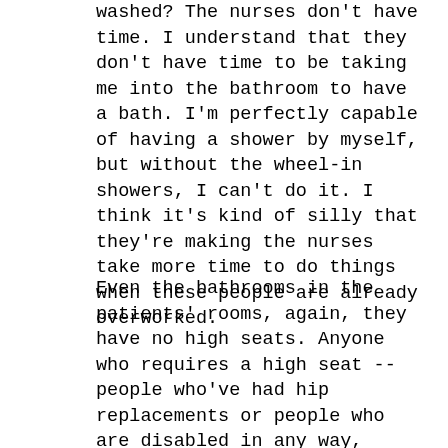washed? The nurses don't have time. I understand that they don't have time to be taking me into the bathroom to have a bath. I'm perfectly capable of having a shower by myself, but without the wheel-in showers, I can't do it. I think it's kind of silly that they're making the nurses take more time to do things when these people are already overworked.
Even the bathrooms in the patients' rooms, again, they have no high seats. Anyone who requires a high seat -- people who've had hip replacements or people who are disabled in any way, shape or form -- good luck finding one. They're pretty rare there. You have to wait for a nurse to come and help you, when in actuality, if you're capable of doing it yourself, you're basically wasting this person's time by doing something like that. It's not your fault, but nurses have other things to do too. I think they should be put there which...